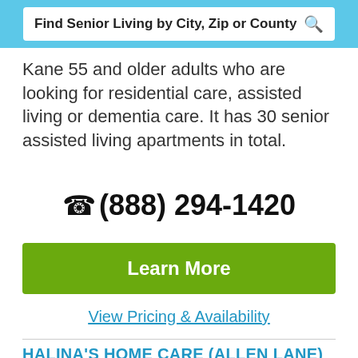Find Senior Living by City, Zip or County
Kane 55 and older adults who are looking for residential care, assisted living or dementia care. It has 30 senior assisted living apartments in total.
(888) 294-1420
Learn More
View Pricing & Availability
HALINA'S HOME CARE (ALLEN LANE)